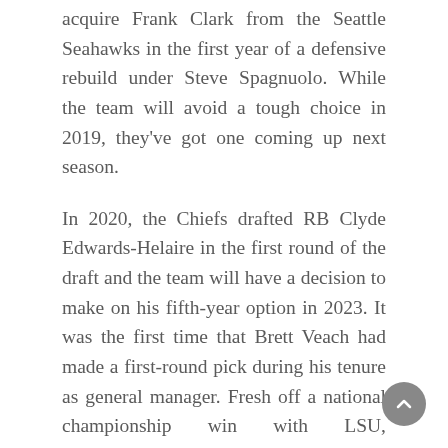acquire Frank Clark from the Seattle Seahawks in the first year of a defensive rebuild under Steve Spagnuolo. While the team will avoid a tough choice in 2019, they've got one coming up next season.
In 2020, the Chiefs drafted RB Clyde Edwards-Helaire in the first round of the draft and the team will have a decision to make on his fifth-year option in 2023. It was the first time that Brett Veach had made a first-round pick during his tenure as general manager. Fresh off a national championship win with LSU, expectations were high for Edwards-Helaire right off the bat. Unfortunately, the running back has fallen well short of those expectations.
Over his first two seasons in Kansas City, he's played in just 26-of-39 possible games (combined regular season and postseason). These absences have largely been due to injuries. As a rookie, he suffered an ankle sprain and a hip injury in late December that lingered into the playoffs. His injury luck in his second year wasn't much better either. It